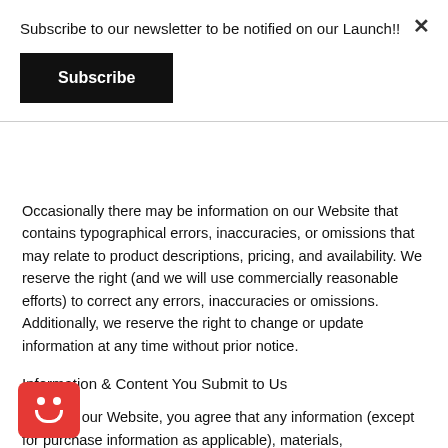Subscribe to our newsletter to be notified on our Launch!!
Subscribe
Occasionally there may be information on our Website that contains typographical errors, inaccuracies, or omissions that may relate to product descriptions, pricing, and availability. We reserve the right (and we will use commercially reasonable efforts) to correct any errors, inaccuracies or omissions. Additionally, we reserve the right to change or update information at any time without prior notice.
Information & Content You Submit to Us
By using our Website, you agree that any information (except for purchase information as applicable), materials, suggestions, ideas or comments you send to us or any other third party using our Website is not confidential. By submitting any solicited or unsolicited information using our Website, you grant to us and our affiliates an irrevocable and unrestricted license to use, modify, reproduce, transmit, display and distribute such